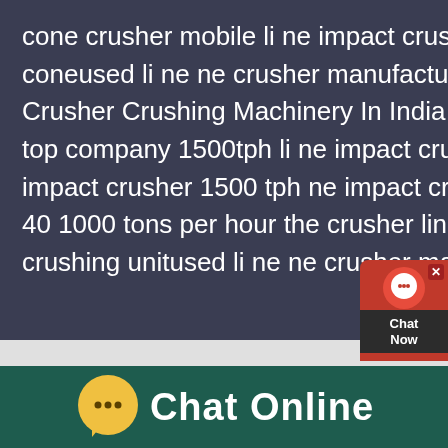cone crusher mobile li ne impact crusher suppliers Get Price used line coneused li ne ne crusher manufacturer malaysia Description Li Ne Crusher Crushing Machinery In India Double roll crushers for li neindia s top company 1500tph li ne impact crusher donnetzedelnl 1500tph li ne impact crusher 1500 tph ne impact crusher bniwauw with capacities from 40 1000 tons per hour the crusher line is designed to ton per hour used crushing unitused li ne ne crusher manufacturer malaysia
[Figure (other): Chat widget button with red background, headset icon, and 'Chat Now' label]
[Figure (other): Green footer bar with yellow speech bubble icon and 'Chat Online' text in white]